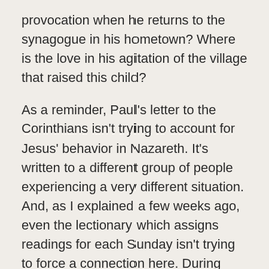provocation when he returns to the synagogue in his hometown? Where is the love in his agitation of the village that raised this child?
As a reminder, Paul's letter to the Corinthians isn't trying to account for Jesus' behavior in Nazareth. It's written to a different group of people experiencing a very different situation. And, as I explained a few weeks ago, even the lectionary which assigns readings for each Sunday isn't trying to force a connection here. During these Sundays in the Time after Epiphany the second reading has been working its way through First Corinthians. The lectionary isn't assuming any particular thematic resonance between the gospel story and Paul's letter to the church in Corinth. So